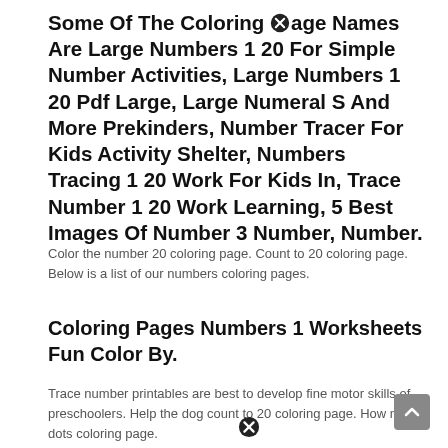Some Of The Coloring Page Names Are Large Numbers 1 20 For Simple Number Activities, Large Numbers 1 20 Pdf Large, Large Numeral S And More Prekinders, Number Tracer For Kids Activity Shelter, Numbers Tracing 1 20 Work For Kids In, Trace Number 1 20 Work Learning, 5 Best Images Of Number 3 Number, Number.
Color the number 20 coloring page. Count to 20 coloring page. Below is a list of our numbers coloring pages.
Coloring Pages Numbers 1 Worksheets Fun Color By.
Trace number printables are best to develop fine motor skills of preschoolers. Help the dog count to 20 coloring page. How many dots coloring page.